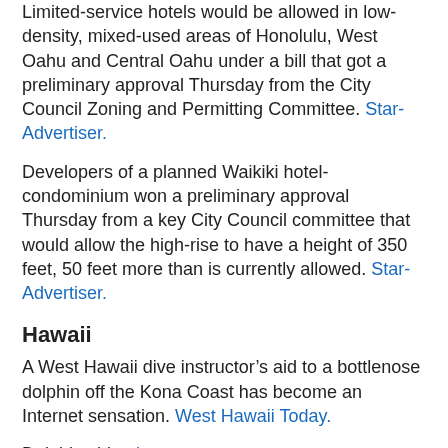Limited-service hotels would be allowed in low-density, mixed-used areas of Honolulu, West Oahu and Central Oahu under a bill that got a preliminary approval Thursday from the City Council Zoning and Permitting Committee. Star-Advertiser.
Developers of a planned Waikiki hotel-condominium won a preliminary approval Thursday from a key City Council committee that would allow the high-rise to have a height of 350 feet, 50 feet more than is currently allowed. Star-Advertiser.
Hawaii
A West Hawaii dive instructor’s aid to a bottlenose dolphin off the Kona Coast has become an Internet sensation. West Hawaii Today.
Dolphin video here.
Bond rating agencies have affirmed Hawaii County’s solid financial standing as the county schedules the sale of $97.2